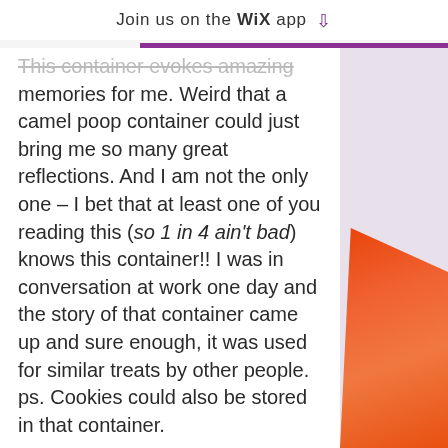Join us on the WiX app ↓
This container evokes amazing memories for me. Weird that a camel poop container could just bring me so many great reflections. And I am not the only one – I bet that at least one of you reading this (so 1 in 4 ain't bad) knows this container!! I was in conversation at work one day and the story of that container came up and sure enough, it was used for similar treats by other people. ps. Cookies could also be stored in that container.

So here's why it has come to mind and heart today. Last night we went to visit my aunt Edith and uncle Abe (my dad's brother) and we enjoyed
[Figure (photo): Orange curved object visible on right side of page]